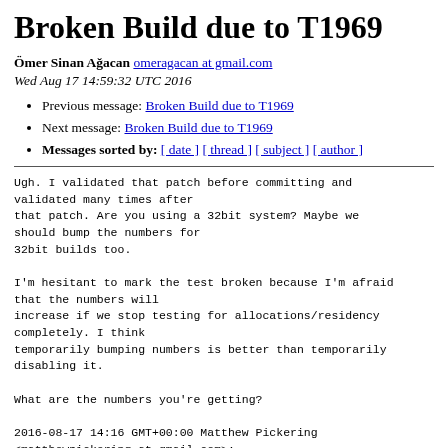Broken Build due to T1969
Ömer Sinan Ağacan omeragacan at gmail.com
Wed Aug 17 14:59:32 UTC 2016
Previous message: Broken Build due to T1969
Next message: Broken Build due to T1969
Messages sorted by: [ date ] [ thread ] [ subject ] [ author ]
Ugh. I validated that patch before committing and validated many times after
that patch. Are you using a 32bit system? Maybe we should bump the numbers for
32bit builds too.

I'm hesitant to mark the test broken because I'm afraid that the numbers will
increase if we stop testing for allocations/residency completely. I think
temporarily bumping numbers is better than temporarily disabling it.

What are the numbers you're getting?

2016-08-17 14:16 GMT+00:00 Matthew Pickering
<matthewpickering at gmail.com>: